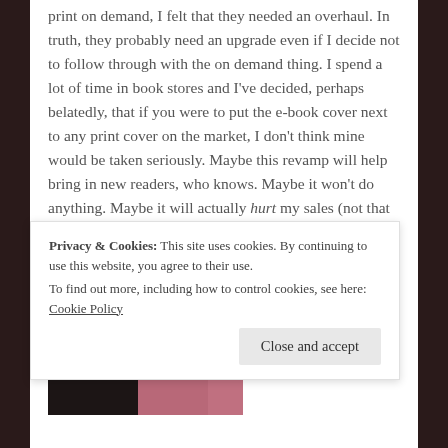print on demand, I felt that they needed an overhaul. In truth, they probably need an upgrade even if I decide not to follow through with the on demand thing. I spend a lot of time in book stores and I've decided, perhaps belatedly, that if you were to put the e-book cover next to any print cover on the market, I don't think mine would be taken seriously. Maybe this revamp will help bring in new readers, who knows. Maybe it won't do anything. Maybe it will actually hurt my sales (not that it can really do any true harm at this point). Anyway. . . here are the redesigns.
[Figure (photo): Partial view of a book cover showing a person with red/auburn hair wearing a pink/mauve jacket against a dark background]
Privacy & Cookies: This site uses cookies. By continuing to use this website, you agree to their use. To find out more, including how to control cookies, see here: Cookie Policy